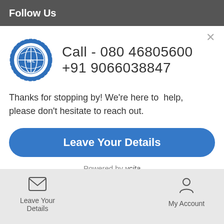Follow Us
[Figure (logo): IIFL circular logo in blue with globe/world design]
Call - 080 46805600
+91 9066038847
Thanks for stopping by! We're here to  help, please don't hesitate to reach out.
Leave Your Details
Powered by vcita
Leave Your Details   My Account